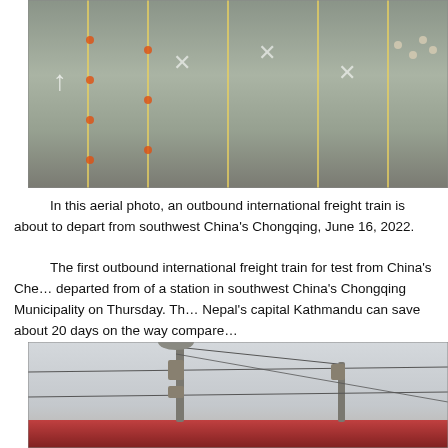[Figure (photo): Aerial photo of a freight train yard/station with road markings, yellow lines, white arrows on pavement, orange cones, and workers visible at top right]
In this aerial photo, an outbound international freight train is about to depart from southwest China's Chongqing, June 16, 2022.
The first outbound international freight train for test from China's Chengdu-Chongqing region departed from a station in southwest China's Chongqing Municipality on Thursday. The train running to Nepal's capital Kathmandu can save about 20 days on the way compared with sea transport. (Xinhua/Tang Yi)
[Figure (photo): Photo of overhead electric railway catenary poles and wires above a red train, with overcast sky in background]